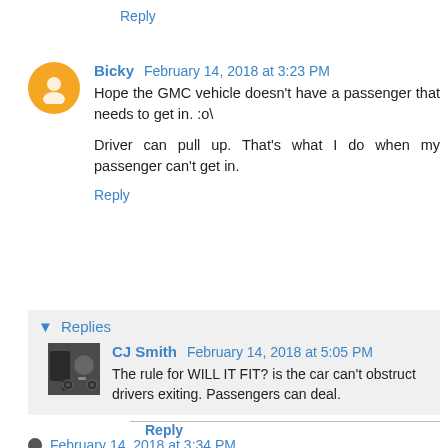Reply
Bicky  February 14, 2018 at 3:23 PM
Hope the GMC vehicle doesn't have a passenger that needs to get in. :o\

Driver can pull up. That's what I do when my passenger can't get in.
Reply
▼  Replies
[Figure (photo): Profile photo of CJ Smith showing a person with a bicycle]
CJ Smith  February 14, 2018 at 5:05 PM
The rule for WILL IT FIT? is the car can't obstruct drivers exiting. Passengers can deal.
Reply
February 14, 2018 at 3:34 PM